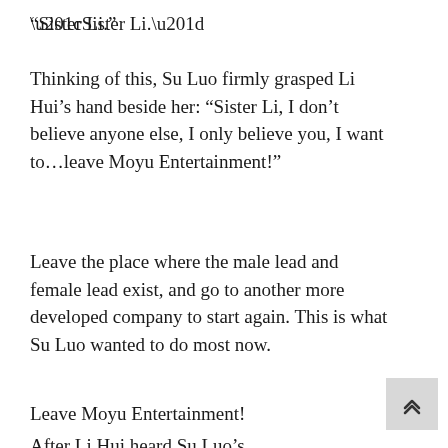“Sister Li.”
Thinking of this, Su Luo firmly grasped Li Hui’s hand beside her: “Sister Li, I don’t believe anyone else, I only believe you, I want to…leave Moyu Entertainment!”
Leave the place where the male lead and female lead exist, and go to another more developed company to start again. This is what Su Luo wanted to do most now.
Leave Moyu Entertainment!
After Li Hui heard Su Luo’s